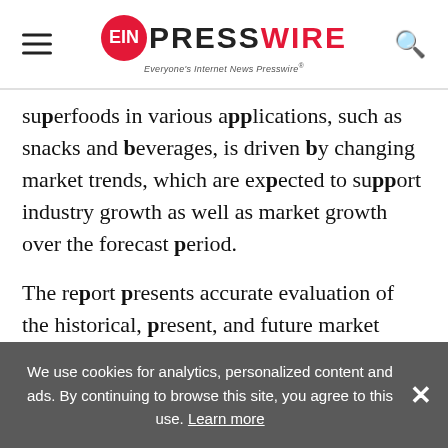EIN PRESSWIRE — Everyone's Internet News Presswire
superfoods in various applications, such as snacks and beverages, is driven by changing market trends, which are expected to support industry growth as well as market growth over the forecast period.
The report presents accurate evaluation of the historical, present, and future market values and revenue shares. At the same time, it sheds light on the latest and emerging trends, opportunities, and risks in the market. The latest study is supported
We use cookies for analytics, personalized content and ads. By continuing to browse this site, you agree to this use. Learn more